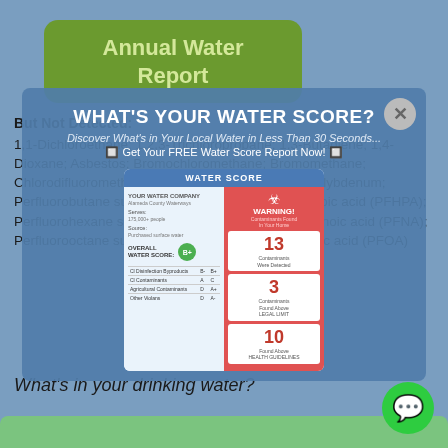Annual Water Report
But Not Detected:
1,1-Dichloroethane; 1,2,3-Trichloropropane; 1,3-Butadiene; 1,4-Dioxane; Asbestos; Bromochloromethane; Bromomethane; Chlorodifluoromethane; Chloromethane; Cobalt; Molybdenum; Perfluorobutane sulfonate (PFBS); Perfluoroheptanoic acid (PFHPA); Perfluorohexane sulfonate (PFHXS); Perfluorononanoic acid (PFNA); Perfluorooctane sulfonate (PFOS); Perfluorooctanoic acid (PFOA)
[Figure (infographic): WHAT'S YOUR WATER SCORE? popup overlay with Water Score report card showing B+ overall score, 13 contaminants above health guidelines, 3 contaminants found above legal limit, 10 contaminants found above health guidelines]
What's in your drinking water?